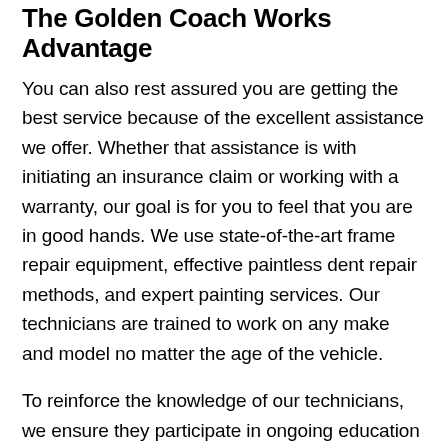The Golden Coach Works Advantage
You can also rest assured you are getting the best service because of the excellent assistance we offer. Whether that assistance is with initiating an insurance claim or working with a warranty, our goal is for you to feel that you are in good hands. We use state-of-the-art frame repair equipment, effective paintless dent repair methods, and expert painting services. Our technicians are trained to work on any make and model no matter the age of the vehicle.
To reinforce the knowledge of our technicians, we ensure they participate in ongoing education courses. This continuing education helps them stay up-to-date on the latest auto body and vehicle repair technologies.
Quality Repair Is Our Business